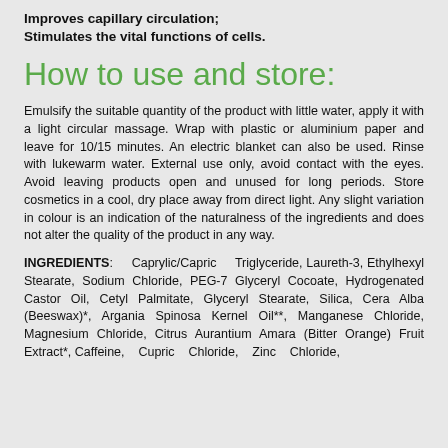Improves capillary circulation;
Stimulates the vital functions of cells.
How to use and store:
Emulsify the suitable quantity of the product with little water, apply it with a light circular massage. Wrap with plastic or aluminium paper and leave for 10/15 minutes. An electric blanket can also be used. Rinse with lukewarm water. External use only, avoid contact with the eyes. Avoid leaving products open and unused for long periods. Store cosmetics in a cool, dry place away from direct light. Any slight variation in colour is an indication of the naturalness of the ingredients and does not alter the quality of the product in any way.
INGREDIENTS: Caprylic/Capric Triglyceride, Laureth-3, Ethylhexyl Stearate, Sodium Chloride, PEG-7 Glyceryl Cocoate, Hydrogenated Castor Oil, Cetyl Palmitate, Glyceryl Stearate, Silica, Cera Alba (Beeswax)*, Argania Spinosa Kernel Oil**, Manganese Chloride, Magnesium Chloride, Citrus Aurantium Amara (Bitter Orange) Fruit Extract*, Caffeine, Cupric Chloride, Zinc Chloride,